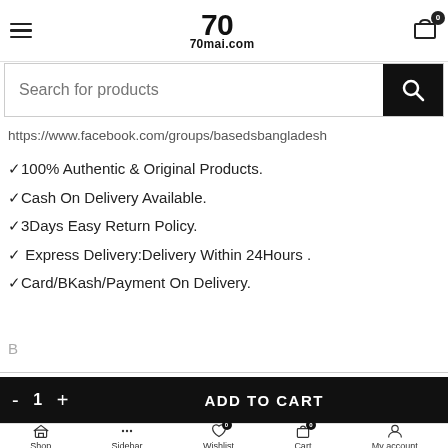70mai.com
Search for products
https://www.facebook.com/groups/basedsbangladesh
✓100% Authentic & Original Products.
✓Cash On Delivery Available.
✓3Days Easy Return Policy.
✓ Express Delivery:Delivery Within 24Hours .
✓Card/BKash/Payment On Delivery.
B
Shop  Sidebar  Wishlist  Cart  My account